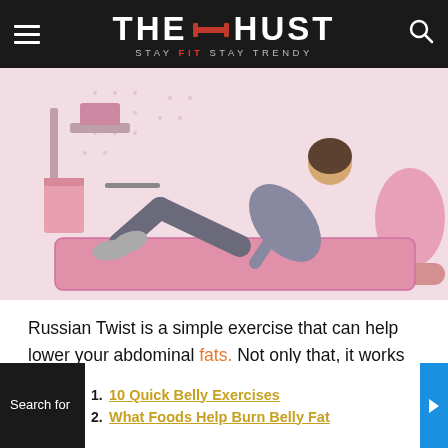THE HUST - STAY FIT STAY TRENDY
[Figure (photo): Woman doing Russian Twist exercise on a pink yoga mat in a pink-themed gym setting with dumbbells, a pink exercise ball and foam roller visible]
Russian Twist is a simple exercise that can help lower your abdominal fats. Not only that, it works on your shoulders, hips, and gives ways to build a strong core. You can make the most out by doing
1. 10 Quick Belly Exercises
2. What Foods Help Burn Belly Fat